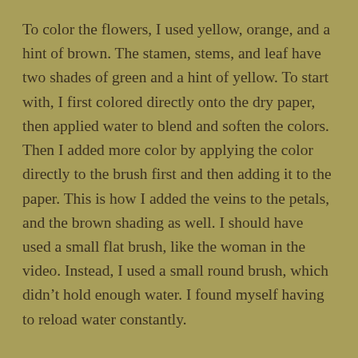To color the flowers, I used yellow, orange, and a hint of brown. The stamen, stems, and leaf have two shades of green and a hint of yellow. To start with, I first colored directly onto the dry paper, then applied water to blend and soften the colors. Then I added more color by applying the color directly to the brush first and then adding it to the paper. This is how I added the veins to the petals, and the brown shading as well. I should have used a small flat brush, like the woman in the video. Instead, I used a small round brush, which didn't hold enough water. I found myself having to reload water constantly.
If you are interested in joining the challenge, you can sign up at Leslie Saeta's 30 Paintings in 30 Days Challenge and then post and/or view the other entries